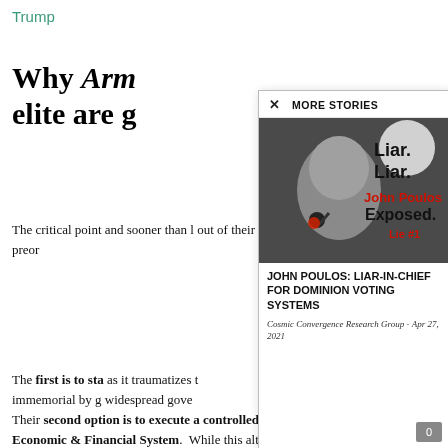Trump
Why Arma... elite are g...
The critical point... and sooner than l... out of their preor...
[Figure (screenshot): Modal popup with MORE STORIES header showing image of John Poulos with overlaid text 'Liar. Liar. John Poulos Exposed. Lie #1' and story title 'JOHN POULOS: LIAR-IN-CHIEF FOR DOMINION VOTING SYSTEMS', byline 'Cosmic Convergence Research Group - Apr 27, 2021']
The first is to sta... as it traumatizes t... immemorial by g... widespread gove... wrongdoing. In f... attention of the ci...
Their second option is to execute a controlled demolition of the Global Economic & Financial System. While this alternative will make many folks quickly forget the ongoing globalist crime wave, it may also backfire...